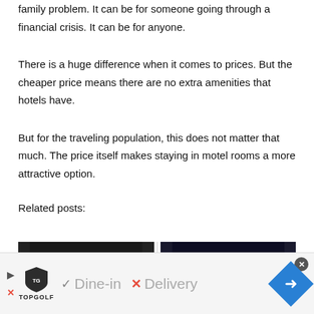family problem. It can be for someone going through a financial crisis. It can be for anyone.
There is a huge difference when it comes to prices. But the cheaper price means there are no extra amenities that hotels have.
But for the traveling population, this does not matter that much. The price itself makes staying in motel rooms a more attractive option.
Related posts:
[Figure (photo): Two thumbnail images for related posts]
[Figure (screenshot): Advertisement banner for Topgolf showing Dine-in and Delivery options]